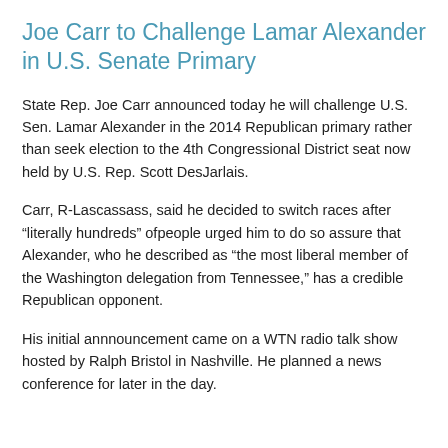Joe Carr to Challenge Lamar Alexander in U.S. Senate Primary
State Rep. Joe Carr announced today he will challenge U.S. Sen. Lamar Alexander in the 2014 Republican primary rather than seek election to the 4th Congressional District seat now held by U.S. Rep. Scott DesJarlais.
Carr, R-Lascassass, said he decided to switch races after “literally hundreds” ofpeople urged him to do so assure that Alexander, who he described as “the most liberal member of the Washington delegation from Tennessee,” has a credible Republican opponent.
His initial annnouncement came on a WTN radio talk show hosted by Ralph Bristol in Nashville. He planned a news conference for later in the day.